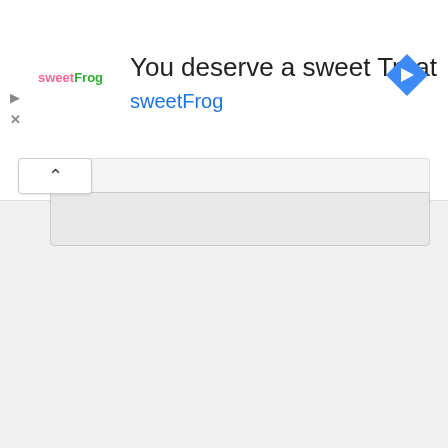[Figure (screenshot): Top advertisement banner for sweetFrog frozen yogurt: 'You deserve a sweet Treat' with sweetFrog logo and navigation arrow icon. Below is a collapsed UI element with chevron-up button and gray content area.]
[Figure (screenshot): Bottom advertisement banner for MBA – Business Analytics program with text 'HIGH DEMAND SKILLS ON DEMAND' on purple background with orange brackets, overlaid on a photo of business school students in a networking or classroom setting.]